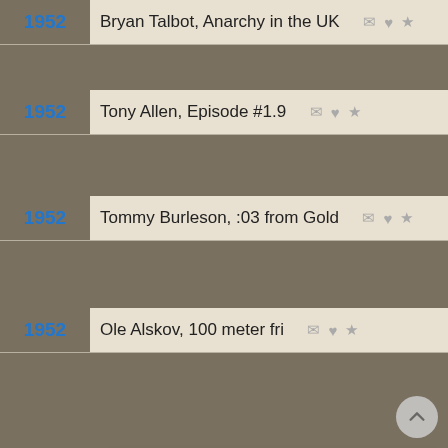1952 — Bryan Talbot, Anarchy in the UK
1952 — Tony Allen, Episode #1.9
1952 — Tommy Burleson, :03 from Gold
1952 — Ole Alskov, 100 meter fri
We use cookies to understand how you use our site and to improve your experience. This includes personalizing content for you and for the display and tracking of advertising. By continuing to use our site, you accept and agree to our use of cookies. Privacy Policy
Got it!